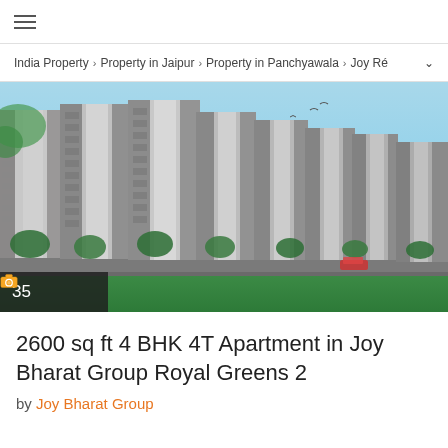≡
India Property > Property in Jaipur > Property in Panchyawala > Joy R...
[Figure (photo): Exterior rendering of Joy Bharat Group Royal Greens 2 — multiple high-rise residential towers with green landscaping and blue sky background. Photo count overlay shows camera icon and '35'.]
2600 sq ft 4 BHK 4T Apartment in Joy Bharat Group Royal Greens 2
by Joy Bharat Group